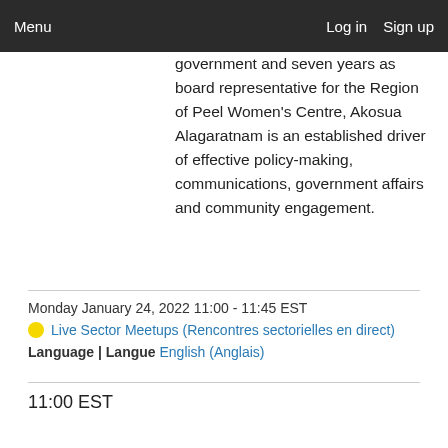Menu    Log in   Sign up
government and seven years as board representative for the Region of Peel Women's Centre, Akosua Alagaratnam is an established driver of effective policy-making, communications, government affairs and community engagement.
Monday January 24, 2022 11:00 - 11:45 EST
Live Sector Meetups (Rencontres sectorielles en direct)
Language | Langue English (Anglais)
11:00 EST